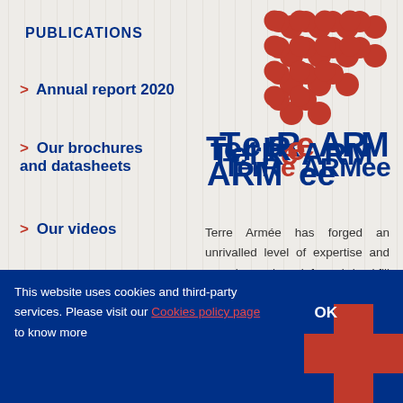PUBLICATIONS
> Annual report 2020
> Our brochures and datasheets
> Our videos
[Figure (logo): Terre Armee logo with red dots arranged in a grid pattern above the text 'TerRe ARMee' in dark blue and red]
Terre Armée has forged an unrivalled level of expertise and experience in reinforced backfill applications and soil structure interaction. Our technical solutions are defined by fo...
TERRE ARMÉE IN THE WORLD
This website uses cookies and third-party services. Please visit our Cookies policy page to know more
OK
TechSpan® Design Tool